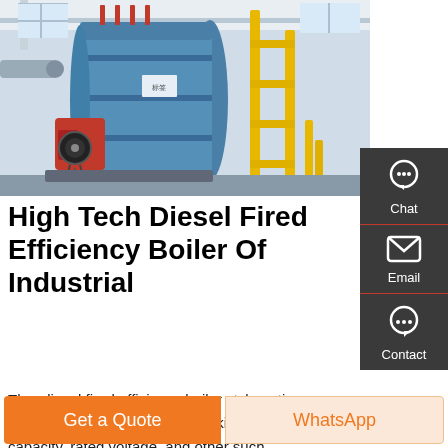[Figure (photo): Industrial diesel fired boiler equipment — large blue horizontal boiler with red burner assembly, yellow support structures, pipes and chains, inside a factory/plant facility.]
High Tech Diesel Fired Efficiency Boiler Of Industrial
The. diesel fired efficiency boiler style options are vertical and horizontal. The working pressure, rated capacity, rated voltage, and other such